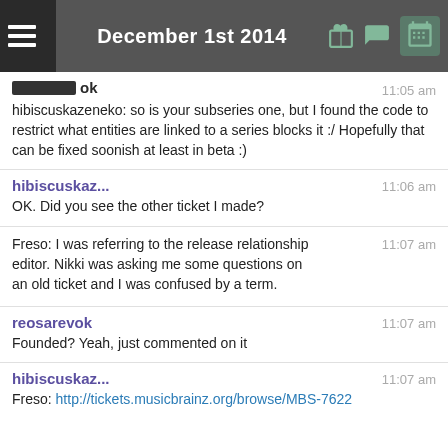December 1st 2014
reosarevok 11:05 am
hibiscuskazeneko: so is your subseries one, but I found the code to restrict what entities are linked to a series blocks it :/ Hopefully that can be fixed soonish at least in beta :)
hibiscuskaz... 11:06 am
OK. Did you see the other ticket I made?
Freso: I was referring to the release relationship editor. Nikki was asking me some questions on an old ticket and I was confused by a term. 11:07 am
reosarevok 11:07 am
Founded? Yeah, just commented on it
hibiscuskaz... 11:07 am
Freso: http://tickets.musicbrainz.org/browse/MBS-7622